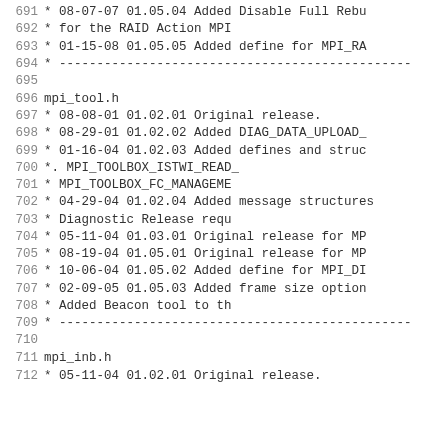691    *  08-07-07  01.05.04   Added Disable Full Rebu
692    *                          for the RAID Action MPI
693    *  01-15-08  01.05.05   Added define for MPI_RA
694    *  -----------------------------------------------
695
696    mpi_tool.h
697    *  08-08-01  01.02.01   Original release.
698    *  08-29-01  01.02.02   Added DIAG_DATA_UPLOAD_
699    *  01-16-04  01.02.03   Added defines and struc
700    *.                        MPI_TOOLBOX_ISTWI_READ_
701    *                         MPI_TOOLBOX_FC_MANAGEME
702    *  04-29-04  01.02.04   Added message structures
703    *                         Diagnostic Release requ
704    *  05-11-04  01.03.01   Original release for MP
705    *  08-19-04  01.05.01   Original release for MP
706    *  10-06-04  01.05.02   Added define for MPI_DI
707    *  02-09-05  01.05.03   Added frame size option
708    *                         Added Beacon tool to th
709    *  -----------------------------------------------
710
711    mpi_inb.h
712    *  05-11-04  01.02.01   Original release.